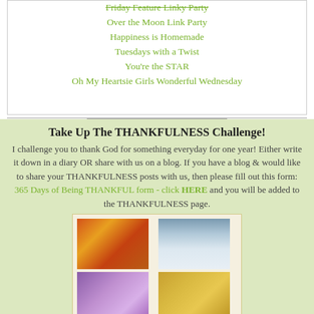Friday Feature Linky Party
Over the Moon Link Party
Happiness is Homemade
Tuesdays with a Twist
You're the STAR
Oh My Heartsie Girls Wonderful Wednesday
Take Up The THANKFULNESS Challenge!
I challenge you to thank God for something everyday for one year!  Either write it down in a diary OR share with us on a blog.  If you have a blog & would like to share your THANKFULNESS posts with us, then please fill out this form: 365 Days of Being THANKFUL form - click HERE and you will be added to the THANKFULNESS page.
[Figure (photo): A 2x2 grid of seasonal nature photos: autumn leaves (orange/red), snow-covered trees, spring flowers (purple), and summer field (golden)]